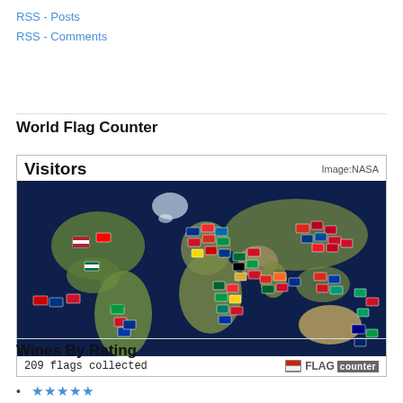RSS - Posts
RSS - Comments
World Flag Counter
[Figure (map): World Flag Counter widget showing a world map with country flags placed at their geographic locations. Header reads 'Visitors' and 'Image:NASA'. Footer reads '209 flags collected' with FLAG counter logo.]
Wines By Rating
★★★★★